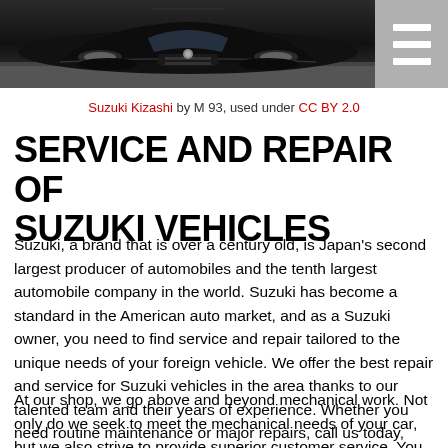[Figure (photo): Front view of a black Suzuki Kizashi sedan on a road, cropped to show the front end and hood area.]
Suzuki Kizashi by M 93, used under CC BY 2.0
SERVICE AND REPAIR OF SUZUKI VEHICLES
Suzuki, a brand that is over a century old, is Japan's second largest producer of automobiles and the tenth largest automobile company in the world. Suzuki has become a standard in the American auto market, and as a Suzuki owner, you need to find service and repair tailored to the unique needs of your foreign vehicle. We offer the best repair and service for Suzuki vehicles in the area thanks to our talented team and their years of experience. Whether you need routine maintenance or major repairs, call us today, and we will get right to work for you!
At our shop, we go above and beyond mechanical work. Not only do we seek to meet the mechanical needs of your car, but we also strive to provide superior customer service. You can expect an excellent experience from start to ...